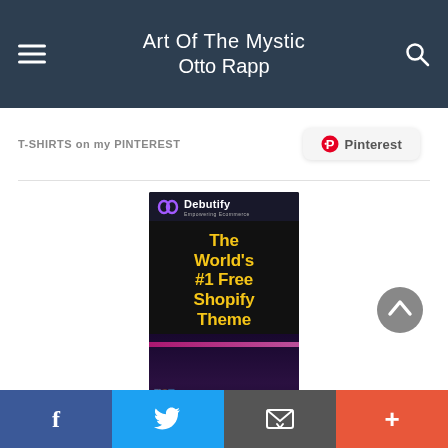Art Of The Mystic Otto Rapp
T-SHIRTS on my PINTEREST
[Figure (screenshot): Debutify ad banner: The World's #1 Free Shopify Theme]
Facebook | Twitter | Email | More